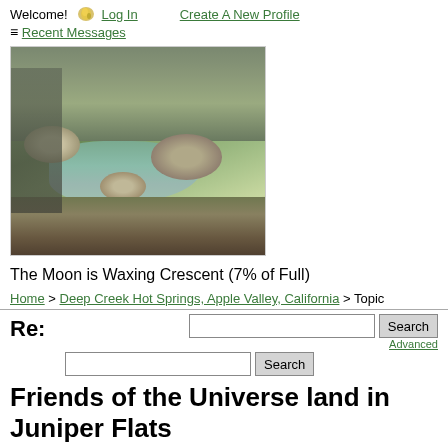Welcome! Log In   Create A New Profile
≡ Recent Messages
[Figure (photo): Outdoor photo of a rocky stream or hot springs pool with large boulders, green water, and surrounding vegetation and dry grass.]
The Moon is Waxing Crescent (7% of Full)
Home > Deep Creek Hot Springs, Apple Valley, California > Topic
Re:
Friends of the Universe land in Juniper Flats